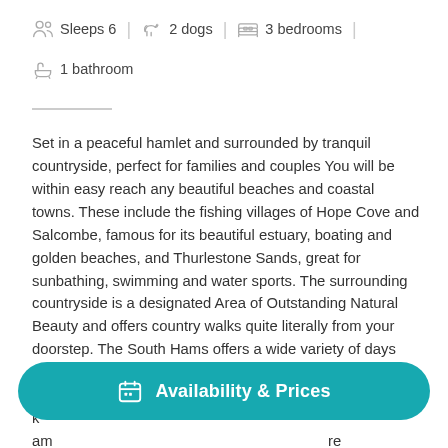Sleeps 6  |  2 dogs  |  3 bedrooms
1 bathroom
Set in a peaceful hamlet and surrounded by tranquil countryside, perfect for families and couples You will be within easy reach any beautiful beaches and coastal towns. These include the fishing villages of Hope Cove and Salcombe, famous for its beautiful estuary, boating and golden beaches, and Thurlestone Sands, great for sunbathing, swimming and water sports. The surrounding countryside is a designated Area of Outstanding Natural Beauty and offers country walks quite literally from your doorstep. The South Hams offers a wide variety of days out, including Dartmouth for shopping and its beautiful castle, or ta... k... am... re centre. At the very heart of this property you will find a
Availability & Prices